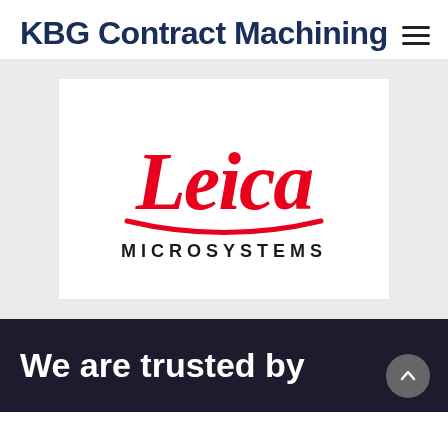KBG Contract Machining
[Figure (logo): Leica Microsystems logo — red cursive 'Leica' text above black 'MICROSYSTEMS' text, on white background with light grey page background]
We are trusted by